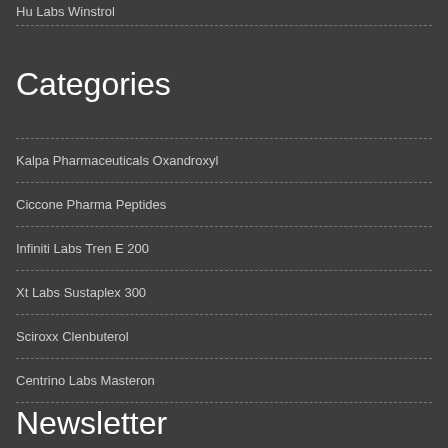Hu Labs Winstrol
Categories
Kalpa Pharmaceuticals Oxandroxyl
Ciccone Pharma Peptides
Infiniti Labs Tren E 200
Xt Labs Sustaplex 300
Sciroxx Clenbuterol
Centrino Labs Masteron
Newsletter